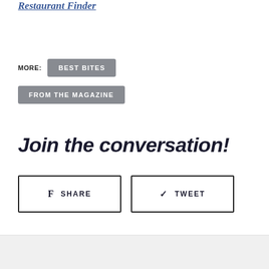Restaurant Finder
MORE: BEST BITES
FROM THE MAGAZINE
Join the conversation!
f SHARE
TWEET